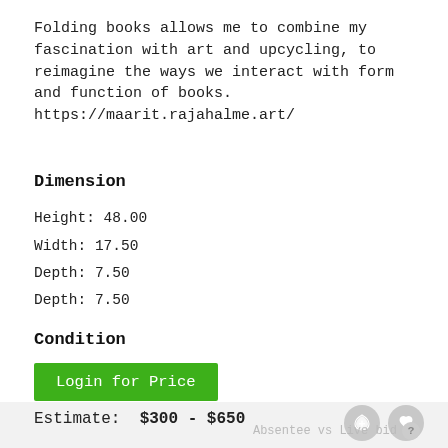Folding books allows me to combine my fascination with art and upcycling, to reimagine the ways we interact with form and function of books. https://maarit.rajahalme.art/
Dimension
Height: 48.00
Width: 17.50
Depth: 7.50
Depth: 7.50
Condition
Excellent
Estimate:  $300 - $650
Login for Price
Absentee vs Live bid